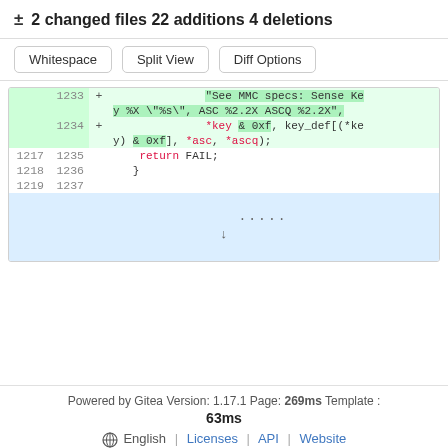± 2 changed files 22 additions 4 deletions
Whitespace | Split View | Diff Options
[Figure (screenshot): Code diff showing lines 1233-1237 with additions for MMC specs sense key format string and key_def array lookup, plus context lines with return FAIL and closing brace]
Powered by Gitea Version: 1.17.1 Page: 269ms Template : 63ms
⊕ English | Licenses | API | Website